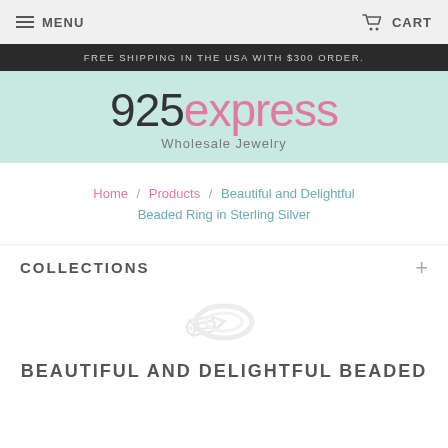MENU  CART
FREE SHIPPING IN THE USA WITH $300 ORDER.
925express Wholesale Jewelry
Home / Products / Beautiful and Delightful Beaded Ring in Sterling Silver
COLLECTIONS +
[Figure (illustration): Faded product image placeholder showing a ring silhouette]
BEAUTIFUL AND DELIGHTFUL BEADED